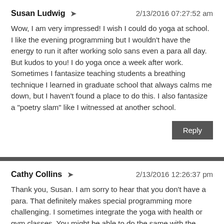Susan Ludwig ➤  2/13/2016 07:27:52 am
Wow, I am very impressed! I wish I could do yoga at school. I like the evening programming but I wouldn't have the energy to run it after working solo sans even a para all day. But kudos to you! I do yoga once a week after work. Sometimes I fantasize teaching students a breathing technique I learned in graduate school that always calms me down, but I haven't found a place to do this. I also fantasize a "poetry slam" like I witnessed at another school.
Reply
Cathy Collins ➤  2/13/2016 12:26:37 pm
Thank you, Susan. I am sorry to hear that you don't have a para. That definitely makes special programming more challenging. I sometimes integrate the yoga with health or gym classes. You might be able to do the same with the teaching of your breathing techniques. Or maybe approach your local YMCA? We all need help in dealing with daily stress! A poetry slam is on my wish list as well, by the way. Good luck!
Repl...